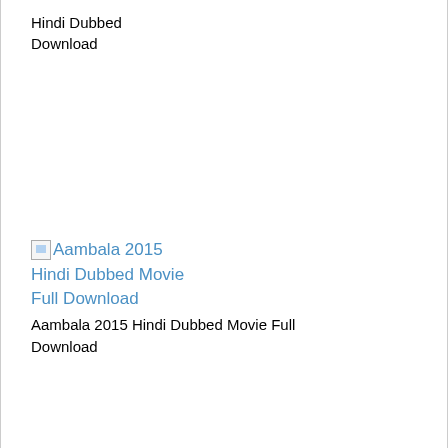Hindi Dubbed Download
[Figure (other): Broken image placeholder for Aambala 2015 Hindi Dubbed Movie Full Download]
Aambala 2015 Hindi Dubbed Movie Full Download
Aambala 2015 Hindi Dubbed Movie Full Download